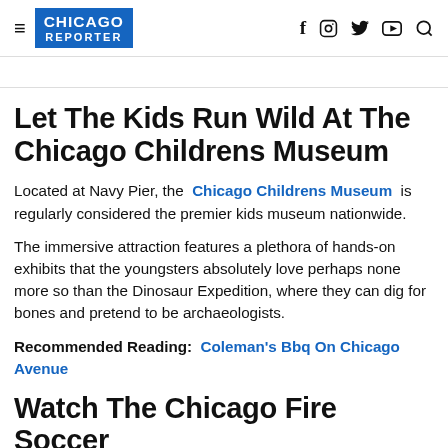Chicago Reporter — navigation header with social icons
— (breadcrumb/category link, partially visible)
Let The Kids Run Wild At The Chicago Childrens Museum
Located at Navy Pier, the Chicago Childrens Museum is regularly considered the premier kids museum nationwide.
The immersive attraction features a plethora of hands-on exhibits that the youngsters absolutely love perhaps none more so than the Dinosaur Expedition, where they can dig for bones and pretend to be archaeologists.
Recommended Reading: Coleman's Bbq On Chicago Avenue
Watch The Chicago Fire Soccer